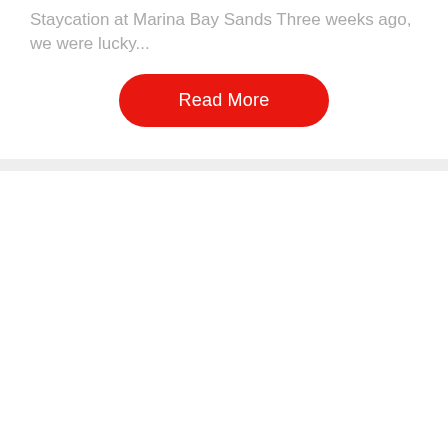Staycation at Marina Bay Sands Three weeks ago, we were lucky...
Read More